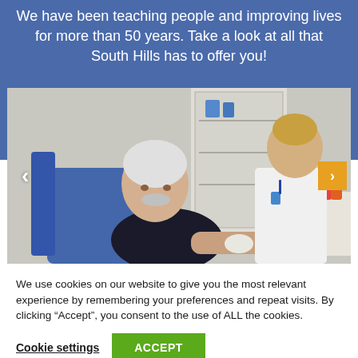We have been teaching people and improving lives for more than 50 years.  Take a look at all that South Hills has to offer you!
[Figure (photo): A medical professional (nurse or phlebotomist) in white uniform drawing blood from an elderly man seated in a blue chair. Medical supply cabinet visible in background.]
We use cookies on our website to give you the most relevant experience by remembering your preferences and repeat visits. By clicking “Accept”, you consent to the use of ALL the cookies.
Cookie settings
ACCEPT